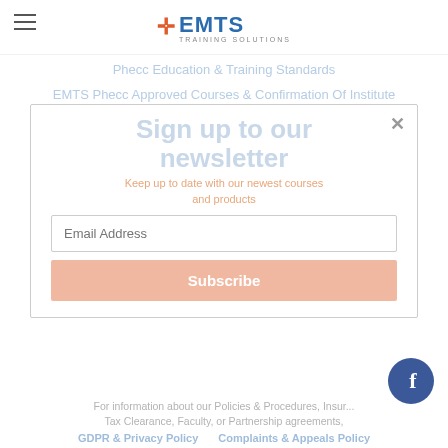[Figure (logo): EMTS Training Solutions logo with orange cross and blue text]
Phecc Education & Training Standards
EMTS Phecc Approved Courses & Confirmation Of Institute Status
Phecc's Logo Usage Policy
Phecc's Responder Examination Handbook
Irish Heart Foundation Logo Usage Terms
Additional resources
Sample A.E.D. Checklist for Workplaces, C.F.R. Groups & Responders.
Dawn Handbook - Teaching Students with Disabilities: Guidelines for Academic Staff
Sign up to our newsletter
Keep up to date with our newest courses and products
Email Address
Subscribe
For information about our Policies & Procedures, Insurance, Tax Clearance, Faculty, or Partnership agreements,
GDPR & Privacy Policy    Complaints & Appeals Policy